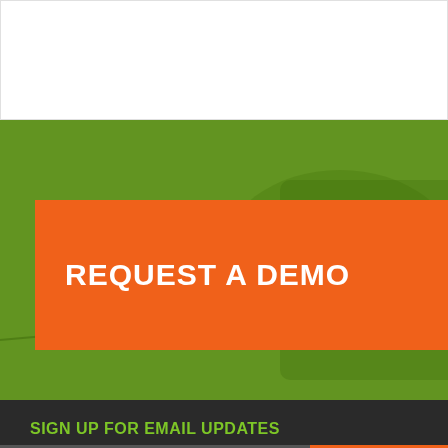[Figure (screenshot): Top white panel, partial content area]
[Figure (photo): Green-tinted background photo of industrial or automotive equipment with orange REQUEST A DEMO button overlay]
REQUEST A DEMO
SIGN UP FOR EMAIL UPDATES
Get the latest webinars, tutorials and more sent directly to your inbox.
SUBSCRIBE